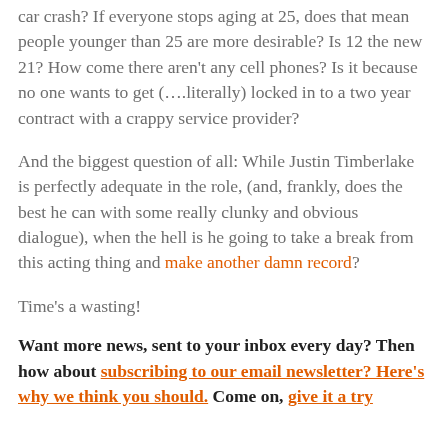car crash? If everyone stops aging at 25, does that mean people younger than 25 are more desirable? Is 12 the new 21? How come there aren't any cell phones? Is it because no one wants to get (….literally) locked in to a two year contract with a crappy service provider?
And the biggest question of all: While Justin Timberlake is perfectly adequate in the role, (and, frankly, does the best he can with some really clunky and obvious dialogue), when the hell is he going to take a break from this acting thing and make another damn record?
Time's a wasting!
Want more news, sent to your inbox every day? Then how about subscribing to our email newsletter? Here's why we think you should. Come on, give it a try